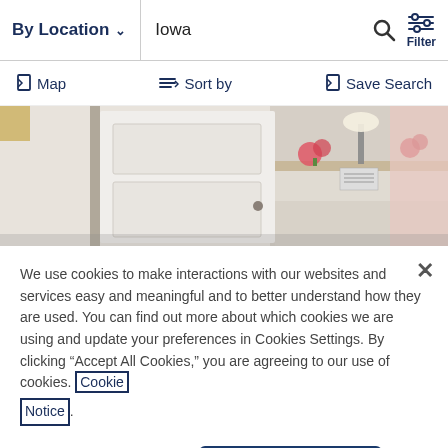By Location   Iowa   Filter
Map   Sort by   Save Search
[Figure (photo): Interior photo of a reception area with a white door on the left, a white reception desk in the center-right, flowers on the desk, a lamp, and a pink curtain on the far right.]
We use cookies to make interactions with our websites and services easy and meaningful and to better understand how they are used. You can find out more about which cookies we are using and update your preferences in Cookies Settings. By clicking “Accept All Cookies,” you are agreeing to our use of cookies. Cookie Notice.
Cookies Settings   Accept All Cookies